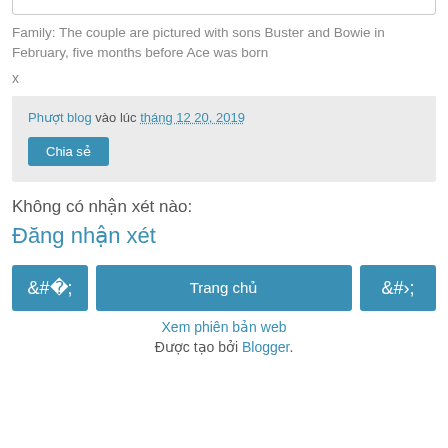Family: The couple are pictured with sons Buster and Bowie in February, five months before Ace was born
x
Phượt blog vào lúc tháng 12 20, 2019
Chia sẻ
Không có nhận xét nào:
Đăng nhận xét
‹  Trang chủ  ›
Xem phiên bản web
Được tạo bởi Blogger.